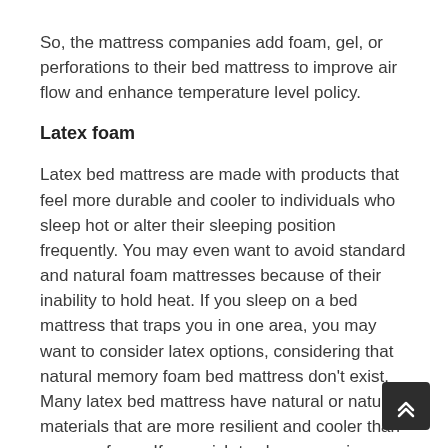So, the mattress companies add foam, gel, or perforations to their bed mattress to improve air flow and enhance temperature level policy.
Latex foam
Latex bed mattress are made with products that feel more durable and cooler to individuals who sleep hot or alter their sleeping position frequently. You may even want to avoid standard and natural foam mattresses because of their inability to hold heat. If you sleep on a bed mattress that traps you in one area, you may want to consider latex options, considering that natural memory foam bed mattress don't exist. Many latex bed mattress have natural or natural materials that are more resilient and cooler than memory foam. If you wish to sleep organic, nevertheless, you need to look for latex options